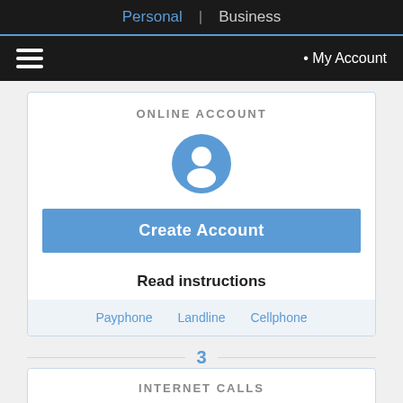Personal | Business
≡  • My Account
ONLINE ACCOUNT
[Figure (illustration): Blue circular user/person icon]
Create Account
Read instructions
Payphone   Landline   Cellphone
3
INTERNET CALLS
[Figure (illustration): Blue WiFi signal icon]